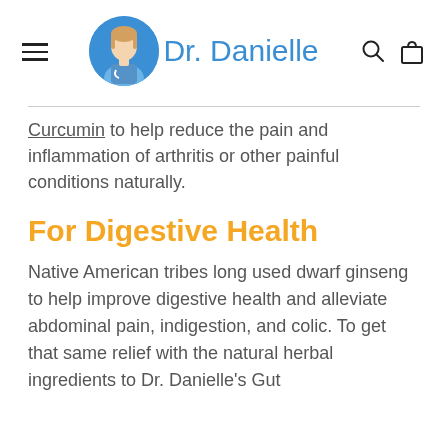Dr. Danielle [logo/navigation header]
Curcumin to help reduce the pain and inflammation of arthritis or other painful conditions naturally.
For Digestive Health
Native American tribes long used dwarf ginseng to help improve digestive health and alleviate abdominal pain, indigestion, and colic. To get that same relief with the natural herbal ingredients to Dr. Danielle's Gut...